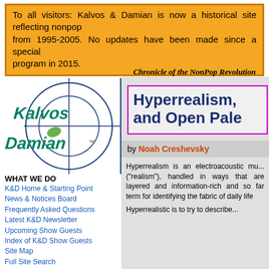To all visitors: Kalvos & Damian is now a historical site reflecting nonpop from 1995-2005. No updates have been made since a special program in 2015.
Chronicle of the NonPop Revolution
[Figure (logo): Kalvos & Damian logo with crosshair/target circle graphic]
WHAT WE DO
K&D Home & Starting Point
News & Notices Board
Frequently Asked Questions
Latest K&D Newsletter
Upcoming Show Guests
Index of K&D Show Guests
Site Map
Full Site Search
MUSIC & FEATURES
Broadcast Audio Archive
ASCAP Deems Taylor Award
9/11 Musical Gallery
Ought-One Festival 2001
Hyperrealism, and Open Pale
by Noah Creshevsky
Hyperrealism is an electroacoustic mu... ("realism"), handled in ways that are layered and information-rich and so far term for identifying the fabric of daily life
Hyperrealistic is to try to describe...